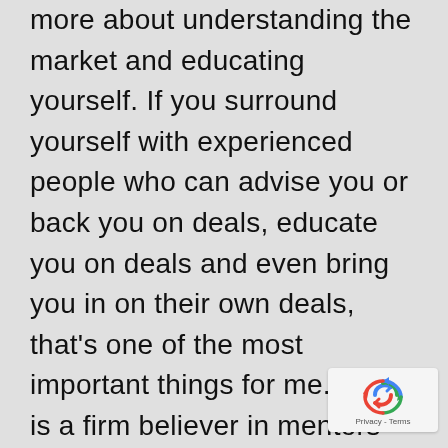more about understanding the market and educating yourself. If you surround yourself with experienced people who can advise you or back you on deals, educate you on deals and even bring you in on their own deals, that's one of the most important things for me." Josh is a firm believer in mentors and the awesome power they unleash when you find the right person. He attributes much of his success to those people who mentored and helped educate him as he began to rebuild his company and his wealth after the 2008 bust. "I've always been obsessed with success, and surrounding myself with successful
[Figure (other): reCAPTCHA privacy badge with recycling-arrows icon and Privacy - Terms text]